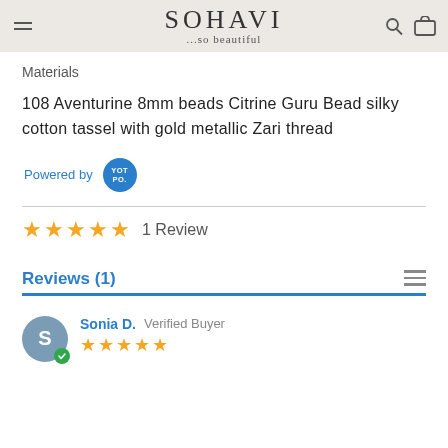SOHAVI ...so beautiful
Materials
108 Aventurine 8mm beads Citrine Guru Bead silky cotton tassel with gold metallic Zari thread
Powered by YOT PO.
★★★★★ 1 Review
Reviews (1)
Sonia D. Verified Buyer ★★★★★